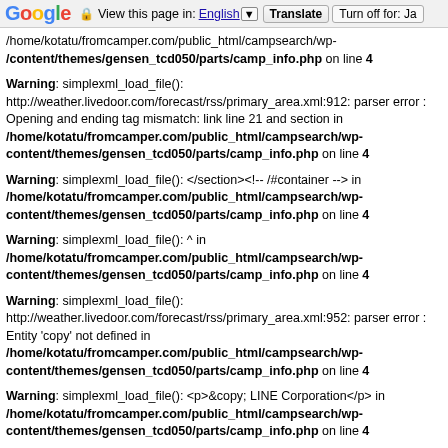Google  View this page in: English  Translate  Turn off for: Ja
/home/kotatu/fromcamper.com/public_html/campsearch/wp-content/themes/gensen_tcd050/parts/camp_info.php on line 4
Warning: simplexml_load_file(): http://weather.livedoor.com/forecast/rss/primary_area.xml:912: parser error : Opening and ending tag mismatch: link line 21 and section in /home/kotatu/fromcamper.com/public_html/campsearch/wp-content/themes/gensen_tcd050/parts/camp_info.php on line 4
Warning: simplexml_load_file(): </section><!-- /#container --> in /home/kotatu/fromcamper.com/public_html/campsearch/wp-content/themes/gensen_tcd050/parts/camp_info.php on line 4
Warning: simplexml_load_file(): ^ in /home/kotatu/fromcamper.com/public_html/campsearch/wp-content/themes/gensen_tcd050/parts/camp_info.php on line 4
Warning: simplexml_load_file(): http://weather.livedoor.com/forecast/rss/primary_area.xml:952: parser error : Entity 'copy' not defined in /home/kotatu/fromcamper.com/public_html/campsearch/wp-content/themes/gensen_tcd050/parts/camp_info.php on line 4
Warning: simplexml_load_file(): <p>&copy; LINE Corporation</p> in /home/kotatu/fromcamper.com/public_html/campsearch/wp-content/themes/gensen_tcd050/parts/camp_info.php on line 4
Warning: simplexml_load_file(): ^ in /home/kotatu/fromcamper.com/public_html/campsearch/wp-content/themes/gensen_tcd050/parts/camp_info.php on line 4
Warning: simplexml_load_file(): http://weather.livedoor.com/forecast/rss/primary_area.xml:969: parser error : Opening and ending tag mismatch: meta line 19 and body in